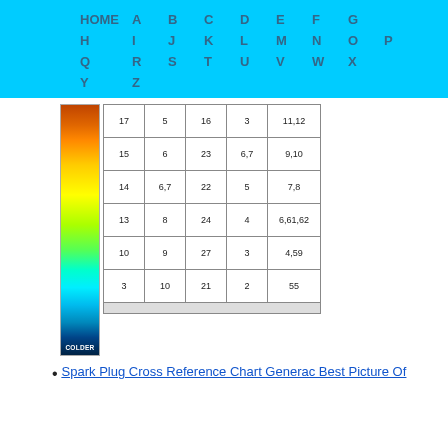HOME A B C D E F G H I J K L M N O P Q R S T U V W X Y Z
[Figure (table-as-image): Color temperature bar (orange to cyan gradient labeled COLDER) beside a table with columns of numbers: rows include 17/5/16/3/11,12 | 15/6/23/6,7/9,10 | 14/6,7/22/5/7,8 | 13/8/24/4/6,61,62 | 10/9/27/3/4,59 | 3/10/21/2/55]
Spark Plug Cross Reference Chart Generac Best Picture Of